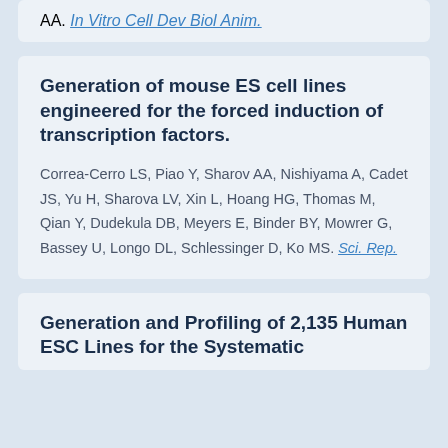AA. In Vitro Cell Dev Biol Anim.
Generation of mouse ES cell lines engineered for the forced induction of transcription factors.
Correa-Cerro LS, Piao Y, Sharov AA, Nishiyama A, Cadet JS, Yu H, Sharova LV, Xin L, Hoang HG, Thomas M, Qian Y, Dudekula DB, Meyers E, Binder BY, Mowrer G, Bassey U, Longo DL, Schlessinger D, Ko MS. Sci. Rep.
Generation and Profiling of 2,135 Human ESC Lines for the Systematic